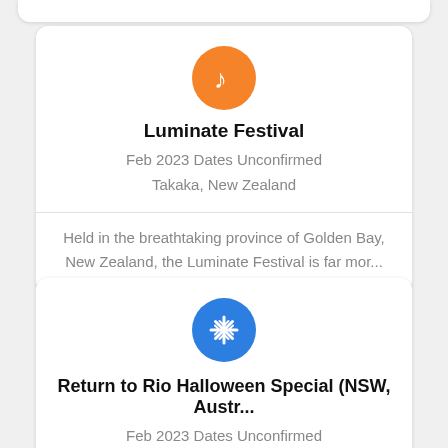[Figure (illustration): Orange circle icon with white music note]
Luminate Festival
Feb 2023 Dates Unconfirmed
Takaka, New Zealand
Held in the breathtaking province of Golden Bay, New Zealand, the Luminate Festival is far mor...
[Figure (illustration): Blue circle icon with white snowflake]
Return to Rio Halloween Special (NSW, Austr...
Feb 2023 Dates Unconfirmed
Wisemans Ferry, NSW